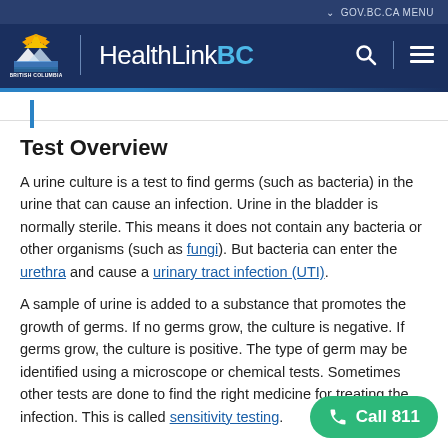GOV.BC.CA MENU | HealthLinkBC | British Columbia
Test Overview
A urine culture is a test to find germs (such as bacteria) in the urine that can cause an infection. Urine in the bladder is normally sterile. This means it does not contain any bacteria or other organisms (such as fungi). But bacteria can enter the urethra and cause a urinary tract infection (UTI).
A sample of urine is added to a substance that promotes the growth of germs. If no germs grow, the culture is negative. If germs grow, the culture is positive. The type of germ may be identified using a microscope or chemical tests. Sometimes other tests are done to find the right medicine for treating the infection. This is called sensitivity testing.